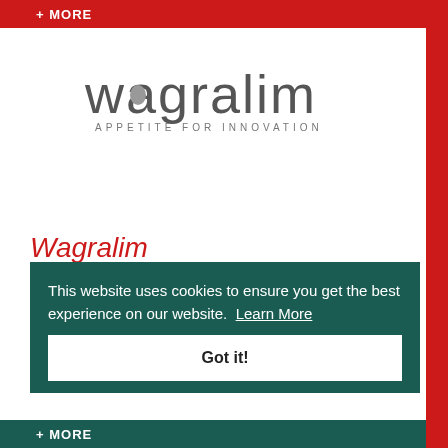+ MORE
[Figure (logo): Wagralim logo with text 'wagralim' in grey and tagline 'APPETITE FOR INNOVATION']
Wagralim
Founded in 2006 as a non-profit association, Wagralim is one of the 6 competitiveness clusters aimed at supporting economic activity and employment in strategic areas for Wallonia.
This website uses cookies to ensure you get the best experience on our website. Learn More
+ MORE